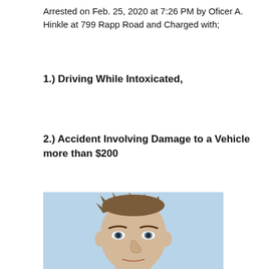Arrested on Feb. 25, 2020 at 7:26 PM by Oficer A. Hinkle at 799 Rapp Road and Charged with;
1.) Driving While Intoxicated,
2.) Accident Involving Damage to a Vehicle more than $200
[Figure (photo): Mugshot photo of a young male with short brown spiky hair against a light blue background]